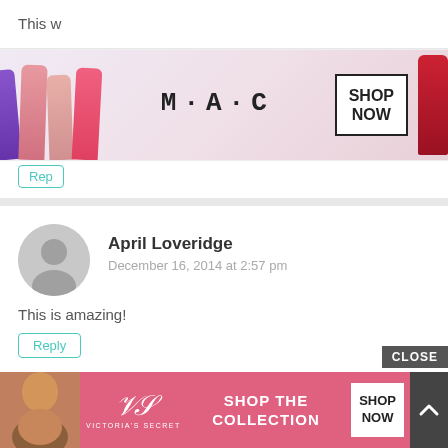This w
[Figure (photo): MAC cosmetics advertisement banner showing colorful lipsticks with MAC logo and SHOP NOW button]
Rep
April Loveridge
December 16, 2014 at 2:57 pm
This is amazing!
Reply
Jenni Arnell
December 16, 2014 at 2:58 pm
My 7 and 4 year old daughters would love this!
Rep
[Figure (photo): Victoria's Secret advertisement banner with CLOSE button, showing Shop The Collection and SHOP NOW]
[Figure (other): Scroll to top button]